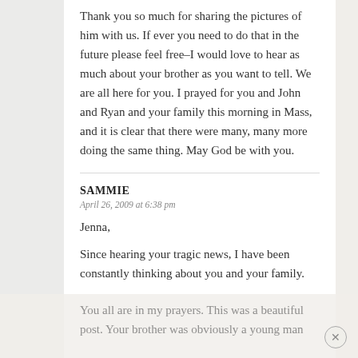Thank you so much for sharing the pictures of him with us. If ever you need to do that in the future please feel free–I would love to hear as much about your brother as you want to tell. We are all here for you. I prayed for you and John and Ryan and your family this morning in Mass, and it is clear that there were many, many more doing the same thing. May God be with you.
SAMMIE
April 26, 2009 at 6:38 pm
Jenna,
Since hearing your tragic news, I have been constantly thinking about you and your family.
You all are in my prayers. This was a beautiful post. Your brother was obviously a young man